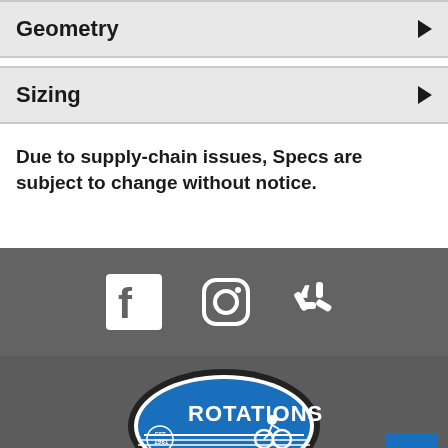Geometry
Sizing
Due to supply-chain issues, Specs are subject to change without notice.
[Figure (infographic): Social media icons: Facebook, Instagram, Yelp on dark gray background]
[Figure (logo): Rotations bicycle shop logo - oval blue logo with ROTATIONS text, cyclist silhouette, EST. 1981, SOUTHAMPTON, 631.283.2890]